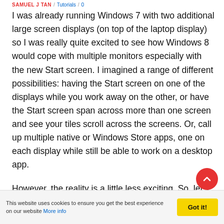SAMUEL J TAN / Tutorials / 0
I was already running Windows 7 with two additional large screen displays (on top of the laptop display) so I was really quite excited to see how Windows 8 would cope with multiple monitors especially with the new Start screen. I imagined a range of different possibilities: having the Start screen on one of the displays while you work away on the other, or have the Start screen span across more than one screen and see your tiles scroll across the screens. Or, call up multiple native or Windows Store apps, one on each display while still be able to work on a desktop app.
However, the reality is a little less exciting. So, let’s find out what are the features available for multiple
This website uses cookies to ensure you get the best experience on our website More info